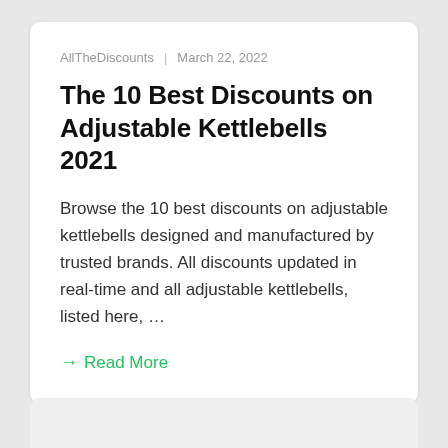AllTheDiscounts  |  March 22, 2022
The 10 Best Discounts on Adjustable Kettlebells 2021
Browse the 10 best discounts on adjustable kettlebells designed and manufactured by trusted brands. All discounts updated in real-time and all adjustable kettlebells, listed here, …
→ Read More